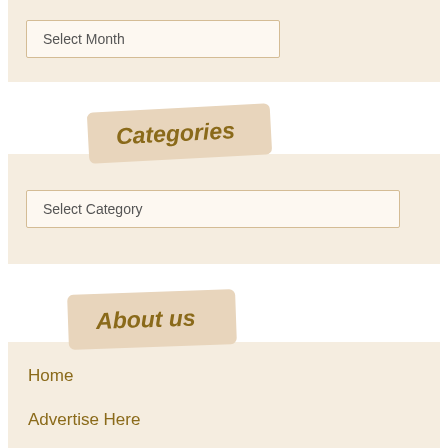Select Month
Categories
Select Category
About us
Home
Advertise Here
Contact Us